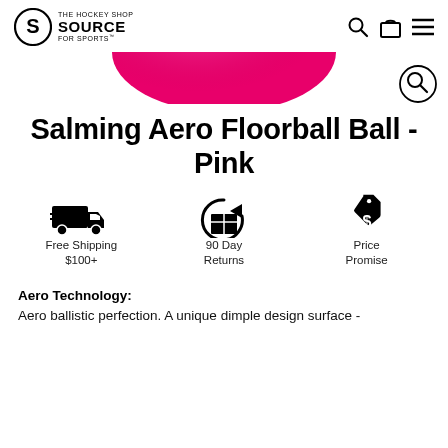THE HOCKEY SHOP SOURCE FOR SPORTS
[Figure (illustration): Pink floorball ball partially visible at top center of page, cropped circular shape in hot pink/magenta color]
[Figure (illustration): Search icon (magnifying glass in circle) overlay in bottom right of image area]
Salming Aero Floorball Ball - Pink
[Figure (infographic): Three icons: delivery truck (Free Shipping $100+), box with return arrow (90 Day Returns), price tag with dollar sign (Price Promise)]
Aero Technology:
Aero ballistic perfection. A unique dimple design surface -